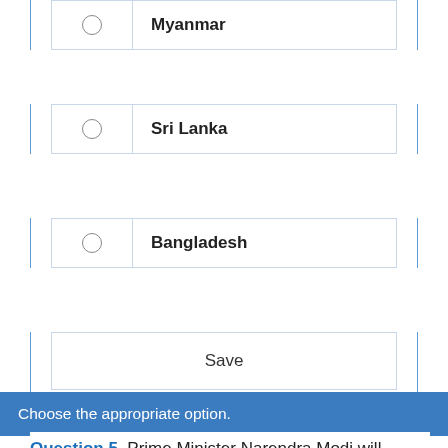Myanmar
Sri Lanka
Bangladesh
Save
Choose the appropriate option.
Question 5. Prime Minister Narendra Modi will inaugurate Atal Tunnel at Rohtang Pass on